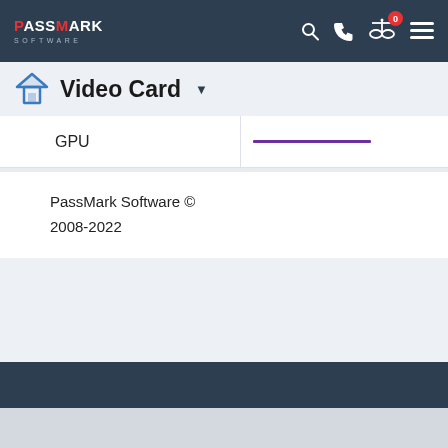PassMark Software
Video Card
GPU
PassMark Software © 2008-2022